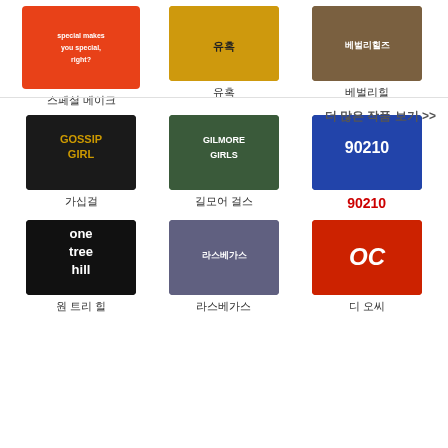[Figure (photo): TV show thumbnail - red/orange background with text]
스페셜 메이크
[Figure (photo): TV show thumbnail - yellow/orange background]
유혹
[Figure (photo): TV show thumbnail - group of people]
베벌리힐
[Figure (photo): Gossip Girl show thumbnail]
가십걸
[Figure (photo): Gilmore Girls show thumbnail]
길모어 걸스
[Figure (photo): 90210 show thumbnail]
90210
[Figure (photo): One Tree Hill show thumbnail - black background]
원 트리 힐
[Figure (photo): TV show thumbnail - two people]
라스베가스
[Figure (photo): The OC show thumbnail - red/black background]
디 오씨
더 많은 작품 보기 >>